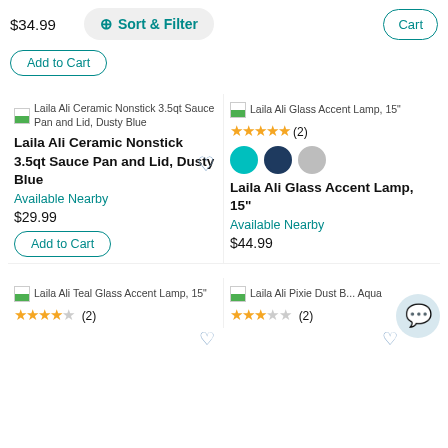$34.99
Sort & Filter
Cart
Add to Cart
[Figure (screenshot): Product listing: Laila Ali Ceramic Nonstick 3.5qt Sauce Pan and Lid, Dusty Blue]
[Figure (screenshot): Product listing: Laila Ali Glass Accent Lamp, 15"]
Laila Ali Ceramic Nonstick 3.5qt Sauce Pan and Lid, Dusty Blue
Laila Ali Glass Accent Lamp, 15"
Available Nearby
Available Nearby
$29.99
$44.99
Add to Cart
[Figure (screenshot): Product listing: Laila Ali Teal Glass Accent Lamp, 15"]
[Figure (screenshot): Product listing: Laila Ali Pixie Dust B... Aqua]